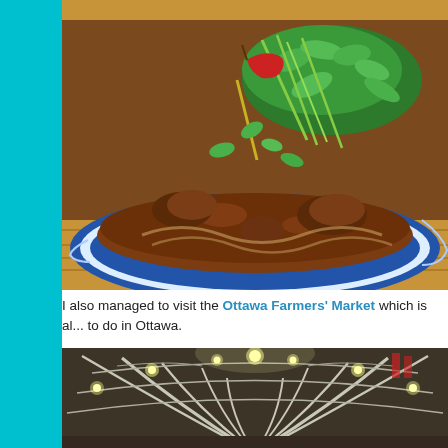[Figure (photo): Close-up of a bowl of Asian soup (likely pho or ramen) with broth, meat chunks, noodles, garnished with fresh herbs including cilantro and green onions, served in a blue and white decorative bowl on a wooden surface.]
I also managed to visit the Ottawa Farmers' Market which is al... to do in Ottawa.
[Figure (photo): Interior view looking up at the arched structural steel roof framework of Ottawa Farmers' Market building, with lights illuminating the criss-crossing steel beams and trusses.]